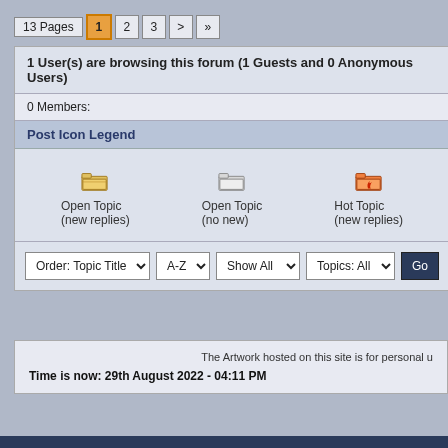13 Pages  1  2  3  >  »
1 User(s) are browsing this forum (1 Guests and 0 Anonymous Users)
0 Members:
Post Icon Legend
Open Topic (new replies)   Open Topic (no new)   Hot Topic (new replies)
Order: Topic Title  A-Z  Show All  Topics: All  Go
The Artwork hosted on this site is for personal u...
Time is now: 29th August 2022 - 04:11 PM